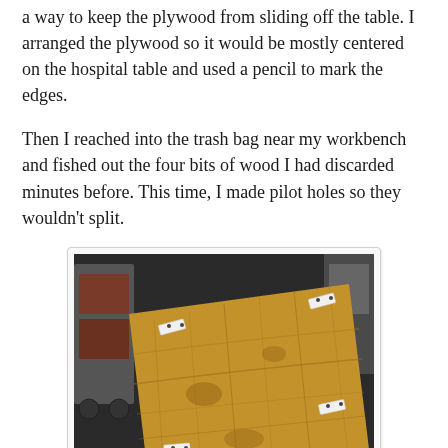a way to keep the plywood from sliding off the table. I arranged the plywood so it would be mostly centered on the hospital table and used a pencil to mark the edges.
Then I reached into the trash bag near my workbench and fished out the four bits of wood I had discarded minutes before. This time, I made pilot holes so they wouldn't split.
[Figure (photo): A rectangular piece of plywood lying on a dark floor or surface. The plywood has a tan/light brown wood grain. There are four small white rectangular pieces of wood attached near each corner of the board. In the background are workshop items including a rolling cart and a coiled spring/seat.]
A wooden dowel was what I had planned to use for the roll of paper, and some carefully placed holes created a place where I